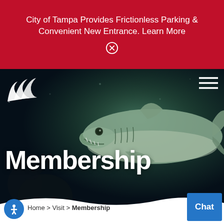City of Tampa Provides Frictionless Parking & Convenient New Entrance. Learn More
[Figure (photo): Hero image of a shark underwater with a silhouetted person viewing, dark teal/navy background, with aquarium logo (white stylized wave/fin shape) top left and hamburger menu icon top right]
Membership
Home > Visit > Membership